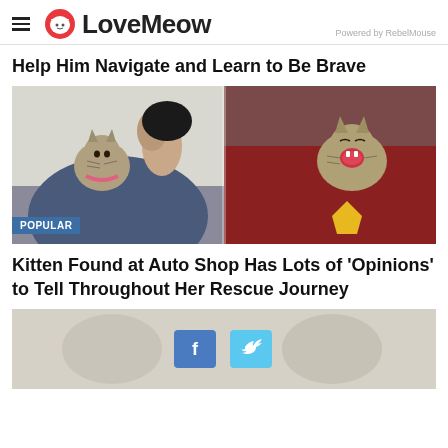LoveMeow — Powered by RebelMouse
Help Him Navigate and Learn to Be Brave
[Figure (photo): Two kittens side by side: left kitten with pink collar resting on a person's shoulder, right kitten with mouth open yawning on a red blanket. POPULAR badge in lower left.]
Kitten Found at Auto Shop Has Lots of 'Opinions' to Tell Throughout Her Rescue Journey
[Figure (photo): Partially visible photo of kittens, overlaid with Facebook and Twitter social sharing buttons.]